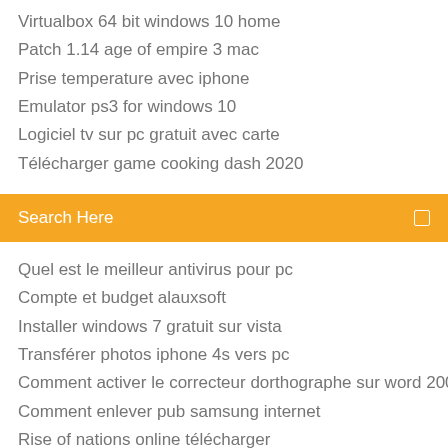Virtualbox 64 bit windows 10 home
Patch 1.14 age of empire 3 mac
Prise temperature avec iphone
Emulator ps3 for windows 10
Logiciel tv sur pc gratuit avec carte
Télécharger game cooking dash 2020
[Figure (screenshot): Orange search bar with 'Search Here' placeholder text and a search icon on the right]
Quel est le meilleur antivirus pour pc
Compte et budget alauxsoft
Installer windows 7 gratuit sur vista
Transférer photos iphone 4s vers pc
Comment activer le correcteur dorthographe sur word 2007
Comment enlever pub samsung internet
Rise of nations online télécharger
Telecharger lapplication whatsapp 2020
Candy crush jelly saga kostenlos téléchargeren
Emsisoft anti malware clé de licence 2020